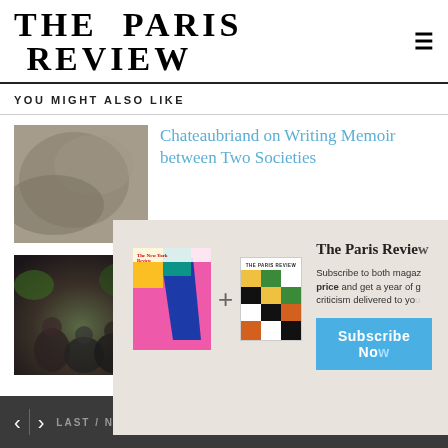THE PARIS REVIEW
YOU MIGHT ALSO LIKE
Chateaubriand on Writing Memoir between Two Societies
[Figure (photo): Gray textured photo thumbnail on the left of the first article row]
[Figure (photo): Photo of people at a gathering, bottom article row]
[Figure (infographic): Subscription modal overlay showing New York Review magazine cover and Paris Review magazine cover with a plus sign between them, and a Subscribe Now button]
LAST / NEXT ARTICLE   SHARE